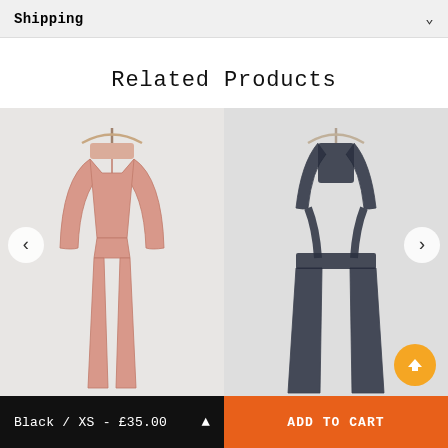Shipping
Related Products
[Figure (photo): Pink long-sleeve collared jumpsuit hanging on a wooden hanger against a light grey background]
[Figure (photo): Dark navy blue dungarees/overalls hanging on a hanger against a light grey background, slightly blurred]
Polycotton Collared...
Polycotton Dungar...
Black / XS - £35.00
ADD TO CART